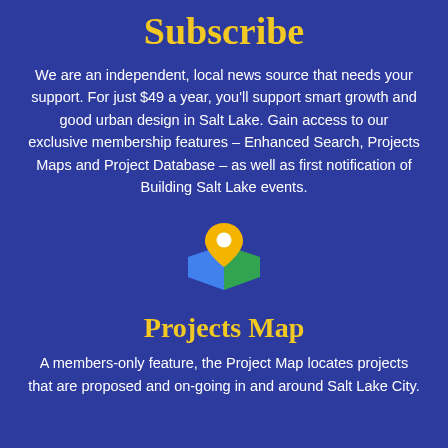Subscribe
We are an independent, local news source that needs your support. For just $49 a year, you'll support smart growth and good urban design in Salt Lake. Gain access to our exclusive membership features – Enhanced Search, Projects Maps and Project Database – as well as first notification of Building Salt Lake events.
[Figure (illustration): Google Maps-style location pin icon in yellow/orange over a blue and green folded map graphic]
Projects Map
A members-only feature, the Project Map locates projects that are proposed and on-going in and around Salt Lake City.